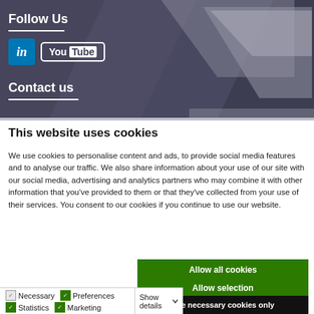[Figure (screenshot): Website banner with dark navy/purple background featuring geometric angular shapes in varying shades of grey. Contains 'Follow Us' heading with LinkedIn and YouTube social media icons, and 'Contact us' section below.]
This website uses cookies
We use cookies to personalise content and ads, to provide social media features and to analyse our traffic. We also share information about your use of our site with our social media, advertising and analytics partners who may combine it with other information that you've provided to them or that they've collected from your use of their services. You consent to our cookies if you continue to use our website.
Allow all cookies
Allow selection
Use necessary cookies only
Necessary  Preferences  Statistics  Marketing  Show details